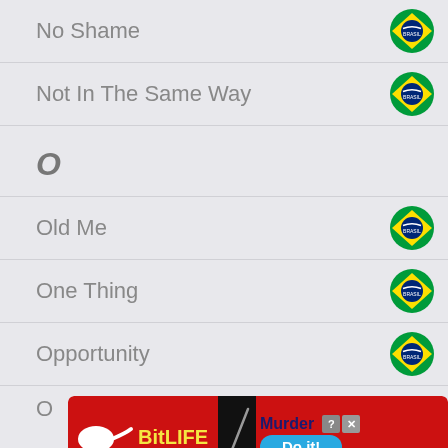No Shame
Not In The Same Way
O
Old Me
One Thing
Opportunity
O
[Figure (screenshot): BitLife advertisement banner with red background showing 'Murder Do it!' text]